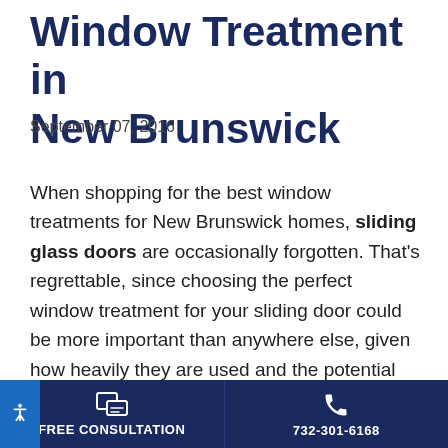Window Treatment in New Brunswick
September 07, 2016
When shopping for the best window treatments for New Brunswick homes, sliding glass doors are occasionally forgotten. That's regrettable, since choosing the perfect window treatment for your sliding door could be more important than anywhere else, given how heavily they are used and the potential visual boost they can give your room.
FREE CONSULTATION | 732-301-6168